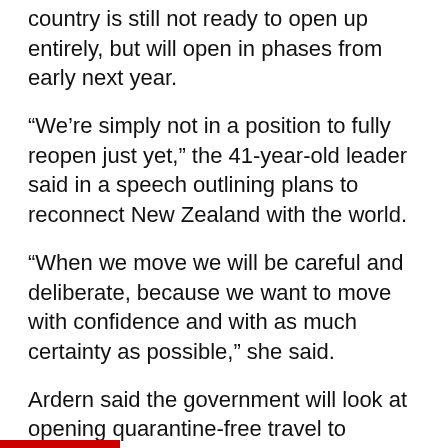country is still not ready to open up entirely, but will open in phases from early next year.
“We’re simply not in a position to fully reopen just yet,” the 41-year-old leader said in a speech outlining plans to reconnect New Zealand with the world.
“When we move we will be careful and deliberate, because we want to move with confidence and with as much certainty as possible,” she said.
Ardern said the government will look at opening quarantine-free travel to vaccinated travellers from low-risk countries from the first quarter of next year.
Those travelling from medium-risk countries will undertake self-isolation or a shorter stay at a quarantine hotel. Those coming from high-risk countries or are